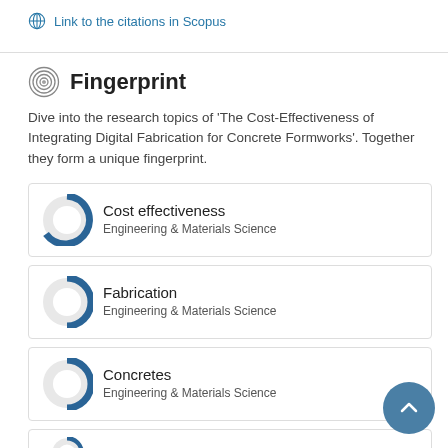Link to the citations in Scopus
Fingerprint
Dive into the research topics of 'The Cost-Effectiveness of Integrating Digital Fabrication for Concrete Formworks'. Together they form a unique fingerprint.
Cost effectiveness
Engineering & Materials Science
Fabrication
Engineering & Materials Science
Concretes
Engineering & Materials Science